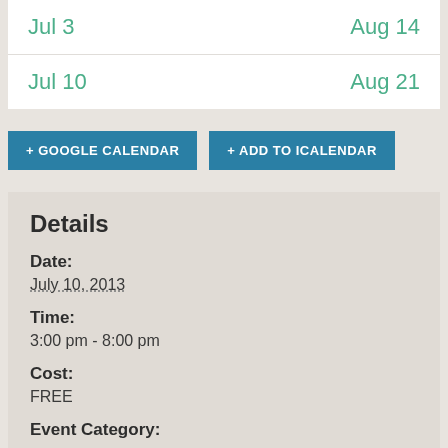Jul 3 | Aug 14
Jul 10 | Aug 21
+ GOOGLE CALENDAR
+ ADD TO ICALENDAR
Details
Date:
July 10, 2013
Time:
3:00 pm - 8:00 pm
Cost:
FREE
Event Category: